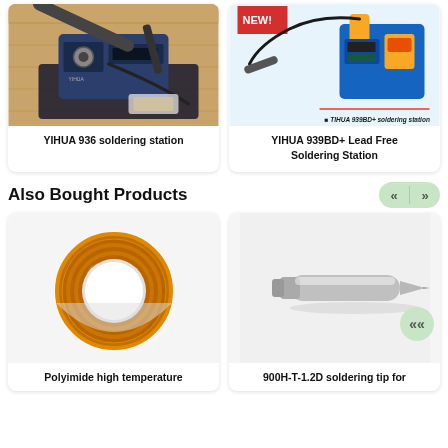[Figure (photo): YIHUA 936 soldering station on wooden surface, black unit with iron holder]
YIHUA 936 soldering station
[Figure (photo): YIHUA 939BD+ Lead Free Soldering Station, blue unit, product ad with NEW! badge]
YIHUA 939BD+ Lead Free Soldering Station
Also Bought Products
[Figure (photo): Roll of amber/brown polyimide high temperature tape on white background]
Polyimide high temperature
[Figure (photo): Silver soldering tip 900H-T-1.2D on light background]
900H-T-1.2D soldering tip for